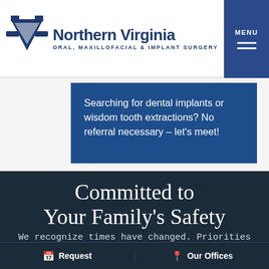[Figure (logo): Northern Virginia Oral, Maxillofacial & Implant Surgery logo with blue V-shaped emblem and navy text]
Searching for dental implants or wisdom tooth extractions? No referral necessary – let's meet!
Committed to Your Family's Safety
We recognize times have changed. Priorities have shifted. Today, nothing is more important than the
Request  Our Offices